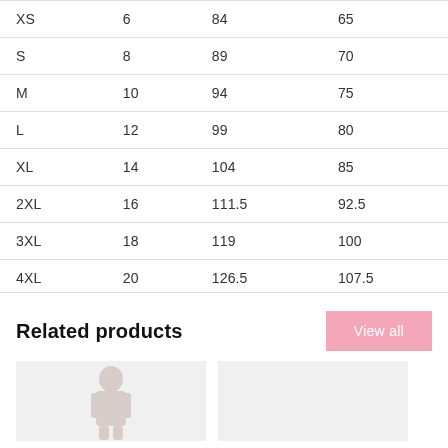| XS | 6 | 84 | 65 |
| S | 8 | 89 | 70 |
| M | 10 | 94 | 75 |
| L | 12 | 99 | 80 |
| XL | 14 | 104 | 85 |
| 2XL | 16 | 111.5 | 92.5 |
| 3XL | 18 | 119 | 100 |
| 4XL | 20 | 126.5 | 107.5 |
Related products
[Figure (photo): View all button (pink background)]
[Figure (photo): Product image placeholder left]
[Figure (photo): Product image placeholder right]